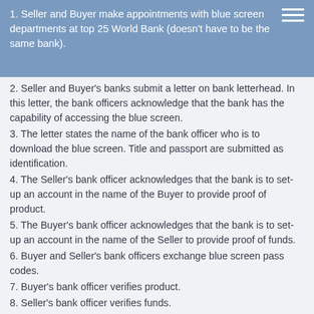1. Seller and Buyer make appointments with blue screen departments at top 25 World Bank (doesn't have to be the same bank).
2. Seller and Buyer's banks submit a letter on bank letterhead. In this letter, the bank officers acknowledge that the bank has the capability of accessing the blue screen.
3. The letter states the name of the bank officer who is to download the blue screen. Title and passport are submitted as identification.
4. The Seller's bank officer acknowledges that the bank is to set-up an account in the name of the Buyer to provide proof of product.
5. The Buyer's bank officer acknowledges that the bank is to set-up an account in the name of the Seller to provide proof of funds.
6. Buyer and Seller's bank officers exchange blue screen pass codes.
7. Buyer's bank officer verifies product.
8. Seller's bank officer verifies funds.
9. Seller issues contract